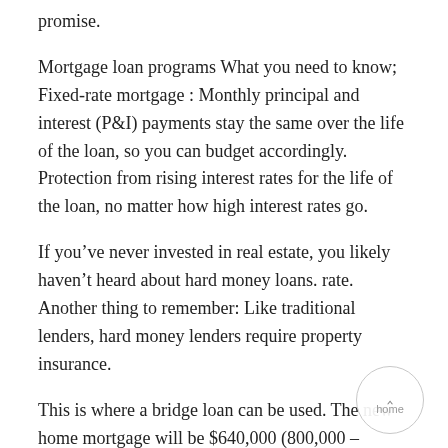promise.
Mortgage loan programs What you need to know; Fixed-rate mortgage : Monthly principal and interest (P&I) payments stay the same over the life of the loan, so you can budget accordingly. Protection from rising interest rates for the life of the loan, no matter how high interest rates go.
If you’ve never invested in real estate, you likely haven’t heard about hard money loans. rate. Another thing to remember: Like traditional lenders, hard money lenders require property insurance.
This is where a bridge loan can be used. The new home mortgage will be $640,000 (800,000 – 160,000 =